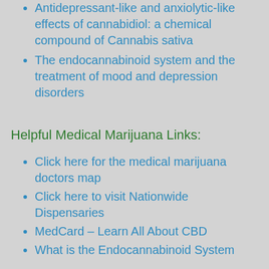Antidepressant-like and anxiolytic-like effects of cannabidiol: a chemical compound of Cannabis sativa
The endocannabinoid system and the treatment of mood and depression disorders
Helpful Medical Marijuana Links:
Click here for the medical marijuana doctors map
Click here to visit Nationwide Dispensaries
MedCard – Learn All About CBD
What is the Endocannabinoid System